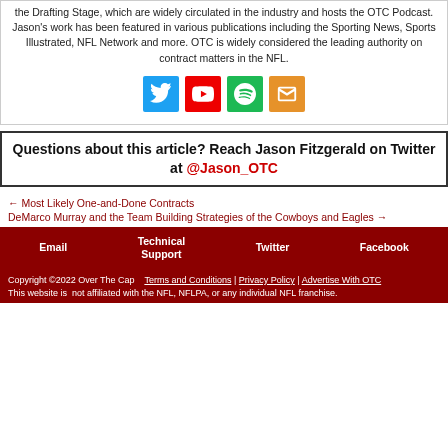the Drafting Stage, which are widely circulated in the industry and hosts the OTC Podcast. Jason's work has been featured in various publications including the Sporting News, Sports Illustrated, NFL Network and more. OTC is widely considered the leading authority on contract matters in the NFL.
[Figure (infographic): Four social media icon buttons: Twitter (blue), YouTube (red), Spotify (green), Email (orange)]
Questions about this article? Reach Jason Fitzgerald on Twitter at @Jason_OTC
← Most Likely One-and-Done Contracts
DeMarco Murray and the Team Building Strategies of the Cowboys and Eagles →
Email | Technical Support | Twitter | Facebook | Copyright ©2022 Over The Cap | Terms and Conditions | Privacy Policy | Advertise With OTC | This website is not affiliated with the NFL, NFLPA, or any individual NFL franchise.